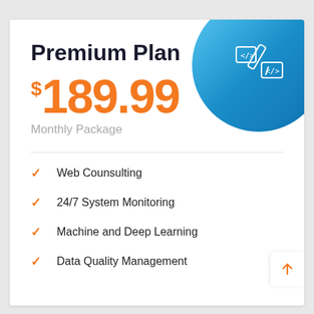Premium Plan
$189.99
Monthly Package
Web Counsulting
24/7 System Monitoring
Machine and Deep Learning
Data Quality Management
[Figure (illustration): Blue circular background in top-right corner with white code/pencil icon]